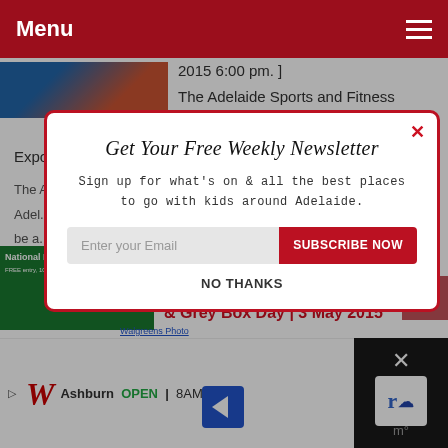Menu
2015 6:00 pm. ]
The Adelaide Sports and Fitness Expo
The A... Adel... be a... fana... you a... nutri...
[Figure (screenshot): Newsletter signup modal popup with title 'Get Your Free Weekly Newsletter', subtitle 'Sign up for what's on & all the best places to go with kids around Adelaide.', email input field, SUBSCRIBE NOW button, and NO THANKS link. Has a red X close button in top right corner.]
Belair National Park Open Day & Grey Box Day | 3 May 2015
Walgreens Photo
Ashburn OPEN 8AM–10PM